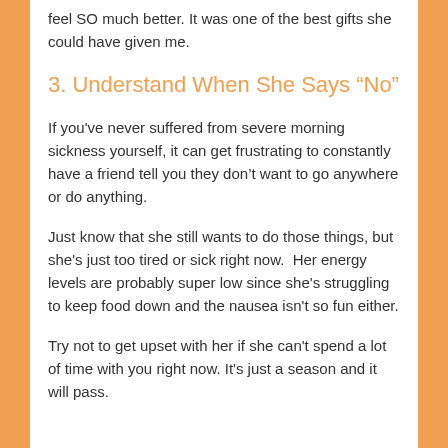feel SO much better. It was one of the best gifts she could have given me.
3. Understand When She Says “No”
If you've never suffered from severe morning sickness yourself, it can get frustrating to constantly have a friend tell you they don’t want to go anywhere or do anything.
Just know that she still wants to do those things, but she's just too tired or sick right now.  Her energy levels are probably super low since she's struggling to keep food down and the nausea isn't so fun either.
Try not to get upset with her if she can't spend a lot of time with you right now. It's just a season and it will pass.